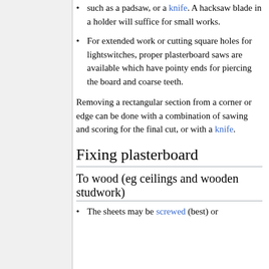such as a padsaw, or a knife. A hacksaw blade in a holder will suffice for small works.
For extended work or cutting square holes for lightswitches, proper plasterboard saws are available which have pointy ends for piercing the board and coarse teeth.
Removing a rectangular section from a corner or edge can be done with a combination of sawing and scoring for the final cut, or with a knife.
Fixing plasterboard
To wood (eg ceilings and wooden studwork)
The sheets may be screwed (best) or